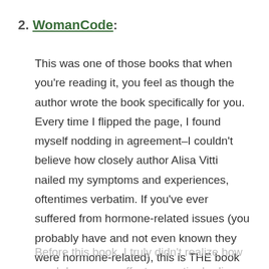2. WomanCode:
This was one of those books that when you're reading it, you feel as though the author wrote the book specifically for you. Every time I flipped the page, I found myself nodding in agreement–I couldn't believe how closely author Alisa Vitti nailed my symptoms and experiences, oftentimes verbatim. If you've ever suffered from hormone-related issues (you probably have and not even known they were hormone-related), this is THE book to read. Alisa explains how our hormones work in a way that finally makes sense. I was amazed to learn how related all my symptoms are and how the dots all connect.
Before this book, I truly didn't realize how much hormones affect our entire bodies; they are so much